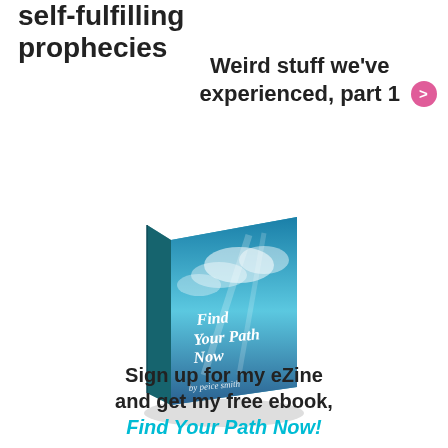self-fulfilling prophecies
Weird stuff we've experienced, part 1
[Figure (illustration): A 3D book titled 'Find Your Path Now' with a teal sky/clouds cover, attributed to 'peice smith', shown at an angle with a drop shadow]
Sign up for my eZine and get my free ebook, Find Your Path Now!